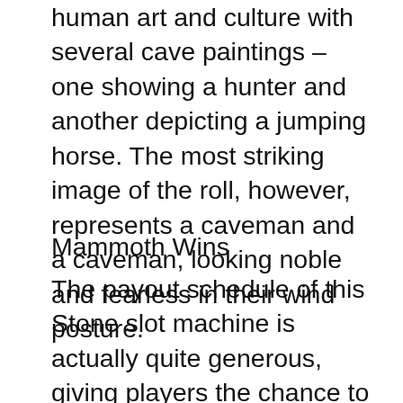human art and culture with several cave paintings – one showing a hunter and another depicting a jumping horse. The most striking image of the roll, however, represents a caveman and a caveman, looking noble and fearless in their wind posture.
Mammoth Wins
The payout schedule of this Stone slot machine is actually quite generous, giving players the chance to win a massive jackpot that will double the value of the batch line by 5,000x. That's rewarded when five furry elephants match the active payline and the next most valuable line bet multiplier, a female hunter collector who pays up to 750x. Five stone axes are also worth 750x the line bet while stone knives and arrows make for 150x. Finally, the less profitable images are cave paintings and necklaces, all of which will give no more than 100x.Players can place good groups, starting from as low as 1 credit, increasing to 100 credits per line. It is